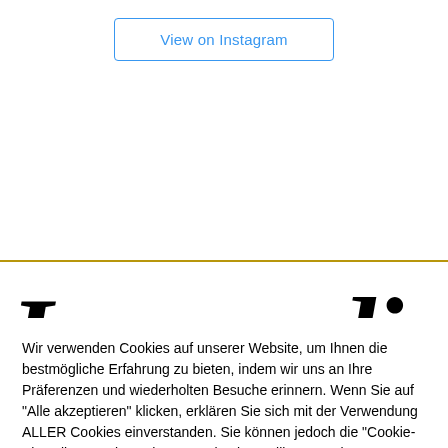[Figure (screenshot): View on Instagram button with blue border and blue text]
[Figure (screenshot): Partial large italic script/cursive text reading 'In can di...' partially cut off]
Wir verwenden Cookies auf unserer Website, um Ihnen die bestmögliche Erfahrung zu bieten, indem wir uns an Ihre Präferenzen und wiederholten Besuche erinnern. Wenn Sie auf "Alle akzeptieren" klicken, erklären Sie sich mit der Verwendung ALLER Cookies einverstanden. Sie können jedoch die "Cookie-Einstellungen" besuchen, um eine kontrollierte Zustimmung zu erteilen.
Cookie Einstellungen
Alle Akzeptieren